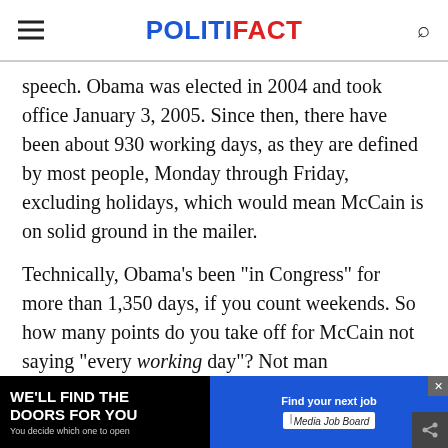POLITIFACT
speech. Obama was elected in 2004 and took office January 3, 2005. Since then, there have been about 930 working days, as they are defined by most people, Monday through Friday, excluding holidays, which would mean McCain is on solid ground in the mailer.
Technically, Obama's been "in Congress" for more than 1,350 days, if you count weekends. So how many points do you take off for McCain not saying "every working day"? Not man… say th…